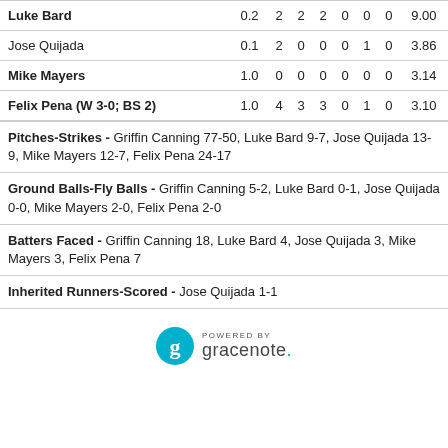| Luke Bard | 0.2 | 2 | 2 | 2 | 0 | 0 | 0 | 9.00 |
| Jose Quijada | 0.1 | 2 | 0 | 0 | 0 | 1 | 0 | 3.86 |
| Mike Mayers | 1.0 | 0 | 0 | 0 | 0 | 0 | 0 | 3.14 |
| Felix Pena (W 3-0; BS 2) | 1.0 | 4 | 3 | 3 | 0 | 1 | 0 | 3.10 |
Pitches-Strikes - Griffin Canning 77-50, Luke Bard 9-7, Jose Quijada 13-9, Mike Mayers 12-7, Felix Pena 24-17
Ground Balls-Fly Balls - Griffin Canning 5-2, Luke Bard 0-1, Jose Quijada 0-0, Mike Mayers 2-0, Felix Pena 2-0
Batters Faced - Griffin Canning 18, Luke Bard 4, Jose Quijada 3, Mike Mayers 3, Felix Pena 7
Inherited Runners-Scored - Jose Quijada 1-1
[Figure (logo): Powered by Gracenote logo]